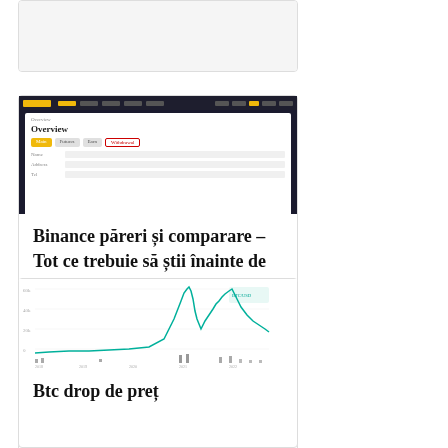[Figure (screenshot): Partial screenshot of a card or website at the top of the page, cropped]
[Figure (screenshot): Screenshot of the Binance platform Overview/Dashboard page showing navigation bar, tabs and form fields]
Binance păreri și comparare – Tot ce trebuie să știi înainte de a-ți deschide un cont Binance
[Figure (line-chart): BTC price drop chart showing a price history line chart with a spike and decline, teal/green line on white background]
Btc drop de preț